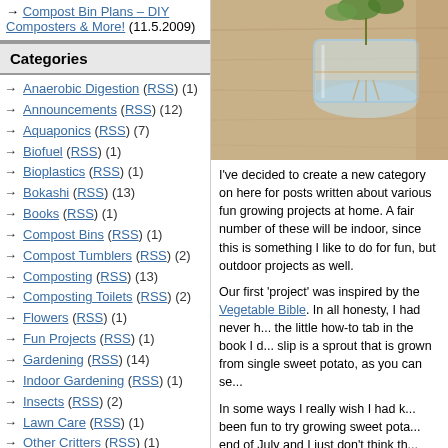Compost Bin Plans – DIY Composters & More! (11.5.2009)
Categories
Anaerobic Digestion (RSS) (1)
Announcements (RSS) (12)
Aquaponics (RSS) (7)
Biofuel (RSS) (1)
Bioplastics (RSS) (1)
Bokashi (RSS) (13)
Books (RSS) (1)
Compost Bins (RSS) (1)
Compost Tumblers (RSS) (2)
Composting (RSS) (13)
Composting Toilets (RSS) (2)
Flowers (RSS) (1)
Fun Projects (RSS) (1)
Gardening (RSS) (14)
Indoor Gardening (RSS) (1)
Insects (RSS) (2)
Lawn Care (RSS) (1)
Other Critters (RSS) (1)
Recycling (RSS) (1)
Sustainable Living (RSS) (5)
Urban Farming (RSS) (7)
Videos (RSS) (7)
Waste to Resource (RSS) (1)
Winter Composting (RSS) (10)
Worm Composting (RSS) (19)
[Figure (photo): Photo of a glass jar with a sweet potato sprout/slip growing in water, on a wooden surface with green leaves visible at top]
I've decided to create a new category on here for posts written about various fun growing projects at home. A fair number of these will be indoor, since this is something I like to do for fun, but outdoor projects as well.
Our first 'project' was inspired by the Vegetable Bible. In all honesty, I had never heard of creating the little how-to tab in the book I discovered. A slip is a sprout that is grown from a cutting of a single sweet potato, as you can see...
In some ways I really wish I had known... It would been fun to try growing sweet potatoes, but it is end of July and I just don't think there is time to crop of these tasty tubers (since they require at least a few months of growing time)...